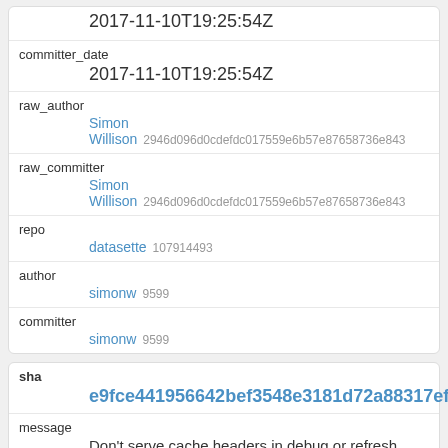|  | 2017-11-10T19:25:54Z |
| committer_date | 2017-11-10T19:25:54Z |
| raw_author | Simon
Willison 2946d096d0cdefdc017559e6b57e87658736e843 |
| raw_committer | Simon
Willison 2946d096d0cdefdc017559e6b57e87658736e843 |
| repo | datasette 107914493 |
| author | simonw 9599 |
| committer | simonw 9599 |
| sha | e9fce441956642bef3548e3181d72a88317efa65 |
| message | Don't serve cache headers in debug or refresh |